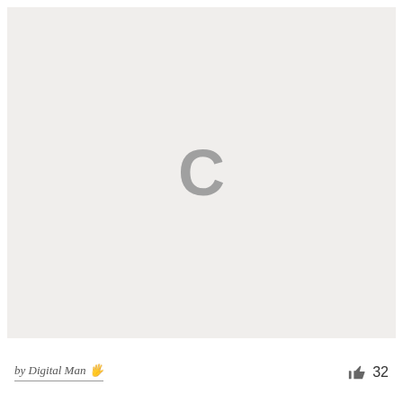[Figure (screenshot): Loading placeholder image with a grey 'C' spinner icon centered on a light grey background]
by Digital Man 🖐
32